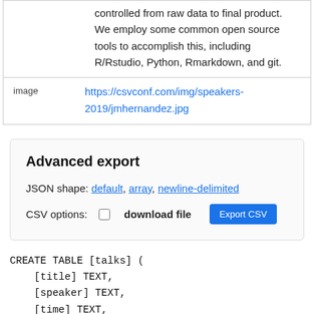controlled from raw data to final product. We employ some common open source tools to accomplish this, including R/Rstudio, Python, Rmarkdown, and git.
image
https://csvconf.com/img/speakers-2019/jmhernandez.jpg
Advanced export
JSON shape: default, array, newline-delimited
CSV options:  download file  Export CSV
CREATE TABLE [talks] (
    [title] TEXT,
    [speaker] TEXT,
    [time] TEXT,
    [day] TEXT,